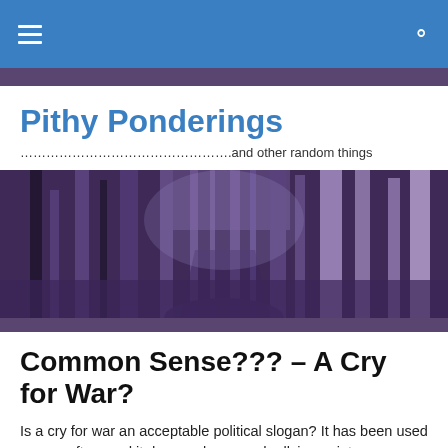Pithy Ponderings — navigation bar with hamburger menu and search icon
Pithy Ponderings
………………………………………….and other random things
[Figure (photo): A purple-tinted photograph of a forest path lined with tall birch and aspen trees, with undergrowth and dappled light.]
Common Sense??? – A Cry for War?
Is a cry for war an acceptable political slogan? It has been used as one often, and it does make a good rallying point